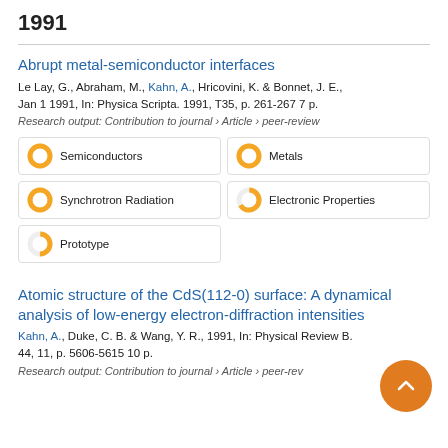1991
Abrupt metal-semiconductor interfaces
Le Lay, G., Abraham, M., Kahn, A., Hricovini, K. & Bonnet, J. E., Jan 1 1991, In: Physica Scripta. 1991, T35, p. 261-267 7 p.
Research output: Contribution to journal › Article › peer-review
100% Semiconductors
100% Metals
100% Synchrotron Radiation
66% Electronic Properties
50% Prototype
Atomic structure of the CdS(112-0) surface: A dynamical analysis of low-energy electron-diffraction intensities
Kahn, A., Duke, C. B. & Wang, Y. R., 1991, In: Physical Review B. 44, 11, p. 5606-5615 10 p.
Research output: Contribution to journal › Article › peer-review